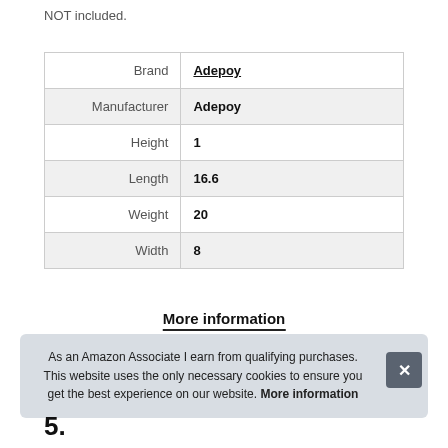NOT included.
| Brand | Adepoy |
| Manufacturer | Adepoy |
| Height | 1 |
| Length | 16.6 |
| Weight | 20 |
| Width | 8 |
More information
As an Amazon Associate I earn from qualifying purchases. This website uses the only necessary cookies to ensure you get the best experience on our website. More information
5.